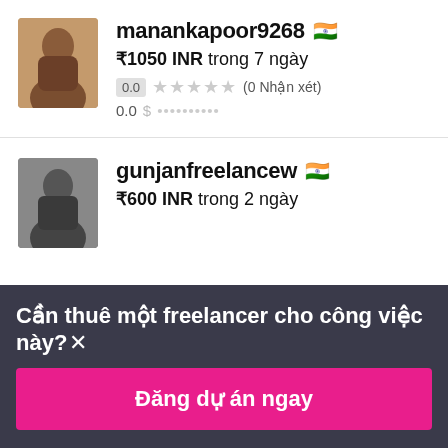[Figure (photo): Profile photo of manankapoor9268 - person in brown outfit against pink background]
manankapoor9268 🇮🇳
₹1050 INR trong 7 ngày
0.0 ★★★★★ (0 Nhận xét)
0.0 $ ••••••••••
[Figure (photo): Profile photo of gunjanfreelancew - person in dark outfit]
gunjanfreelancew 🇮🇳
₹600 INR trong 2 ngày
Cần thuê một freelancer cho công việc này?×
Đăng dự án ngay